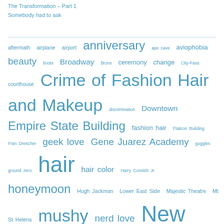The Transformation – Part 1
Somebody had to ask
aftermath airplane airport anniversary ape cave aviophobia beauty boots Broadway Bronx ceremony change City-Pass courthouse Crime of Fashion Hair and Makeup discrimination Downtown Empire State Building fashion hair Flatiron Building Fran Drescher geek love Gene Juarez Academy goggles ground zero hair hair color Harry Connick Jr. honeymoon Hugh Jackman Lower East Side Majestic Theatre Mt St Helens mushy nerd love New York City NYC NYPD Obsessive Compulsive Cosmetics octoclip octopuss paranoid Phantom of the Opera photographers are terrorists Photography Discrimination photo